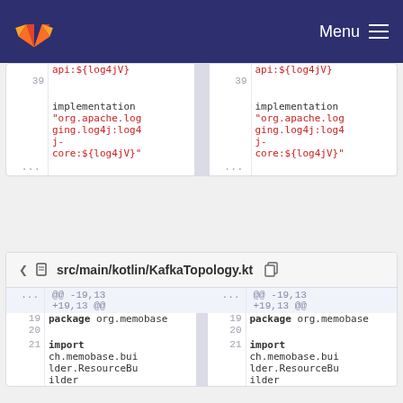GitLab navigation header with logo and Menu
[Figure (screenshot): Code diff view showing two columns with line 39 containing implementation and org.apache.logging.log4j:log4j-core:${log4jV} in red, followed by ellipsis rows]
src/main/kotlin/KafkaTopology.kt
| line | code (left) | line | code (right) |
| --- | --- | --- | --- |
| ... | @@ -19,13 +19,13 @@ | ... | @@ -19,13 +19,13 @@ |
| 19 | package org.memobase | 19 | package org.memobase |
| 20 |  | 20 |  |
| 21 | import ch.memobase.builder.ResourceBuilder | 21 | import ch.memobase.builder.ResourceBuilder |